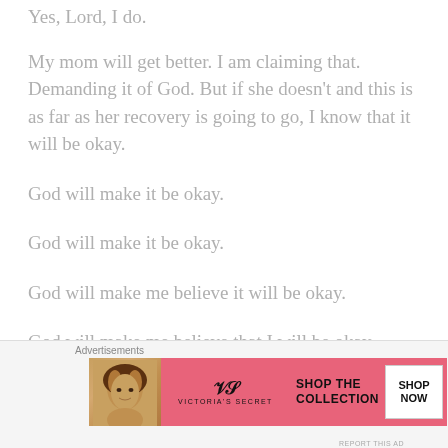Yes, Lord, I do.
My mom will get better. I am claiming that. Demanding it of God. But if she doesn't and this is as far as her recovery is going to go, I know that it will be okay.
God will make it be okay.
God will make it be okay.
God will make me believe it will be okay.
God will make me believe that I will be okay.
[Figure (illustration): Victoria's Secret advertisement banner with a woman's photo, VS logo, 'SHOP THE COLLECTION' text, and 'SHOP NOW' button on a pink background]
Advertisements